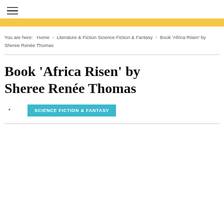☰ (hamburger menu icon)
You are here:  Home  ›  Literature & Fiction Science Fiction & Fantasy  ›  Book 'Africa Risen' by Sheree Renée Thomas
Book 'Africa Risen' by Sheree Renée Thomas
* SCIENCE FICTION & FANTASY